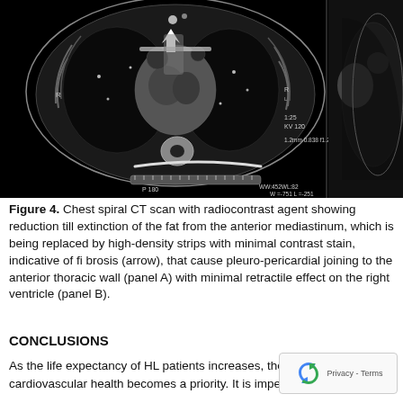[Figure (photo): Chest spiral CT scan image showing cross-sectional view of thorax with black background. Shows lung fields, mediastinum, vertebral column. Text overlays on image include: R (right marker), P 180, 1.25, KV 120, 1.2mm 0.838 f1.25ap, WW:452WL:82, W=-751 L=-251. An arrow points to a white high-density strip in the anterior mediastinum.]
Figure 4. Chest spiral CT scan with radiocontrast agent showing reduction till extinction of the fat from the anterior mediastinum, which is being replaced by high-density strips with minimal contrast stain, indicative of fi brosis (arrow), that cause pleuro-pericardial joining to the anterior thoracic wall (panel A) with minimal retractile effect on the right ventricle (panel B).
CONCLUSIONS
As the life expectancy of HL patients increases, the focus on cardiovascular health becomes a priority. It is imperative to